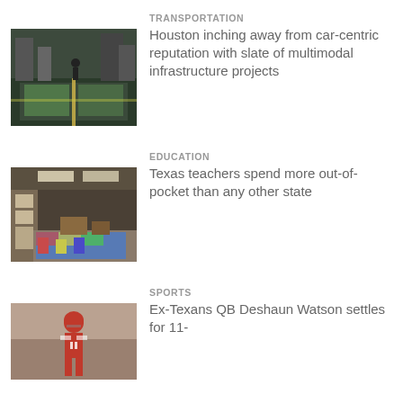[Figure (photo): Street view with green painted bike lanes and crosswalk markings in Houston]
TRANSPORTATION
Houston inching away from car-centric reputation with slate of multimodal infrastructure projects
[Figure (photo): Classroom interior with colorful rug and school furniture]
EDUCATION
Texas teachers spend more out-of-pocket than any other state
[Figure (photo): Football player in red and white uniform on the field]
SPORTS
Ex-Texans QB Deshaun Watson settles for 11-